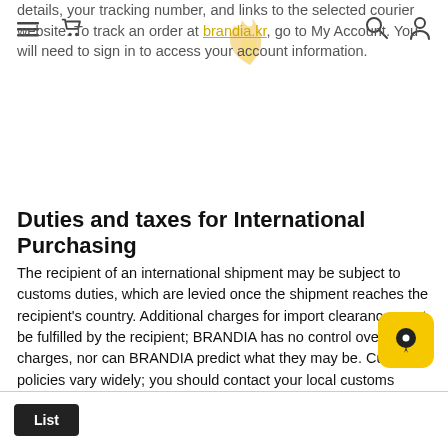details, your tracking number, and links to the selected courier website. To track an order at brandia.kr, go to My Account. You will need to sign in to access your account information.
Duties and taxes for International Purchasing
The recipient of an international shipment may be subject to customs duties, which are levied once the shipment reaches the recipient's country. Additional charges for import clearance must be fulfilled by the recipient; BRANDIA has no control over these charges, nor can BRANDIA predict what they may be. Customs policies vary widely; you should contact your local customs office for more information.
List